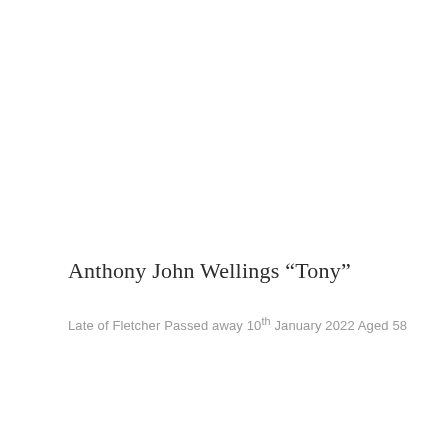Anthony John Wellings “Tony”
Late of Fletcher Passed away 10th January 2022 Aged 58